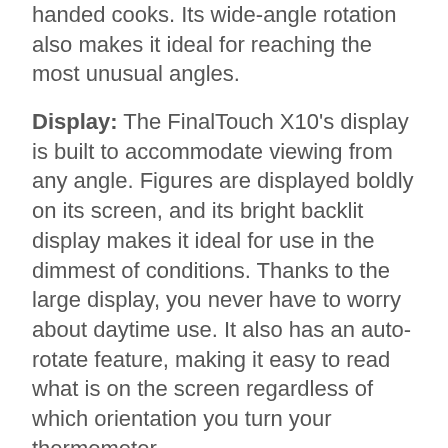handed cooks. Its wide-angle rotation also makes it ideal for reaching the most unusual angles.
Display: The FinalTouch X10's display is built to accommodate viewing from any angle. Figures are displayed boldly on its screen, and its bright backlit display makes it ideal for use in the dimmest of conditions. Thanks to the large display, you never have to worry about daytime use. It also has an auto-rotate feature, making it easy to read what is on the screen regardless of which orientation you turn your thermometer.